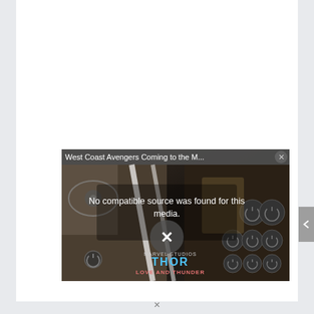[Figure (screenshot): A video player overlay showing 'West Coast Avengers Coming to the M...' with a dark background showing Thor Love and Thunder movie imagery. The video player shows an error message 'No compatible source was found for this media.' with a large X close button. The video thumbnail shows a blonde woman (Jane Foster/Mighty Thor) and Thor, with the Thor: Love and Thunder Marvel Studios logo visible. There are circular icon buttons on the right side.]